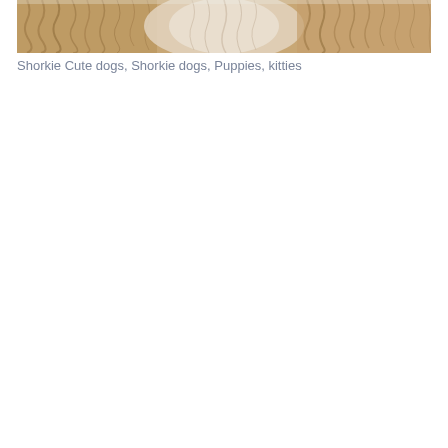[Figure (photo): Close-up photo of fluffy dogs (Shorkies), showing fur with warm tan, brown, and cream tones. The image is cropped to show primarily the top portion of the animals.]
Shorkie Cute dogs, Shorkie dogs, Puppies, kitties